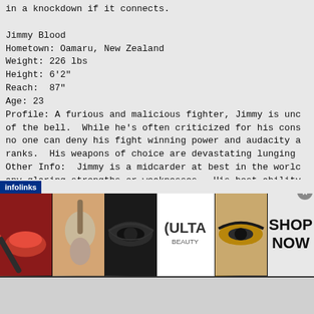in a knockdown if it connects.
Jimmy Blood
Hometown: Oamaru, New Zealand
Weight: 226 lbs
Height: 6'2"
Reach:  87"
Age: 23
Profile: A furious and malicious fighter, Jimmy is unc
of the bell.  While he's often criticized for his cons
no one can deny his fight winning power and audacity a
ranks.  His weapons of choice are devastating lunging
Other Info:  Jimmy is a midcarder at best in the worlc
any glaring strengths or weaknesses.  His best ability
Flurry is average.
Basic Moves
Dashing Punch X
Leaping Lefty u, X
Eyebrow Shuffle d, X
Super Uppercut Left r, X
The Bruiser l, X
cer A
[Figure (photo): Ulta Beauty advertisement banner with makeup photos and SHOP NOW text]